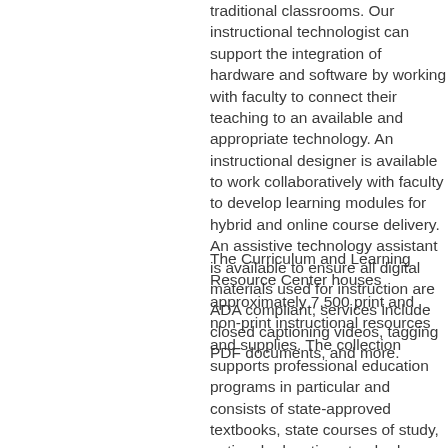traditional classrooms. Our instructional technologist can support the integration of hardware and software by working with faculty to connect their teaching to an available and appropriate technology. An instructional designer is available to work collaboratively with faculty to develop learning modules for hybrid and online course delivery. An assistive technology assistant is available to ensure all digital materials used for instruction are ADA compliant; services include closed captioning videos, tagging PDF documents, and more.
The Curriculum and Learning Resource Center houses approximately 7,500 print and non-print instructional resources and supplies. The collection supports professional education programs in particular and consists of state-approved textbooks, state courses of study, national education standards, periodicals, children's literature, big books, professional and reference books, and expanding multicultural and special education